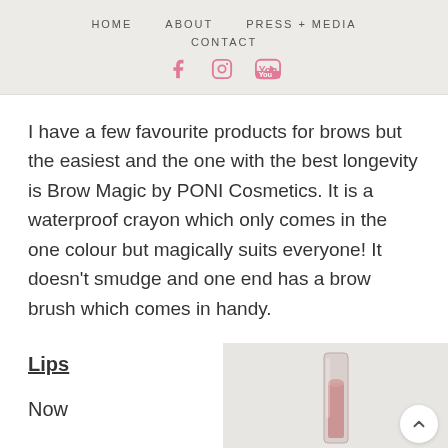HOME   ABOUT   PRESS + MEDIA   CONTACT
I have a few favourite products for brows but the easiest and the one with the best longevity is Brow Magic by PONI Cosmetics. It is a waterproof crayon which only comes in the one colour but magically suits everyone! It doesn't smudge and one end has a brow brush which comes in handy.
Lips
Now
[Figure (photo): A lipstick or lip product in a glass container shown from above against a light grey background]